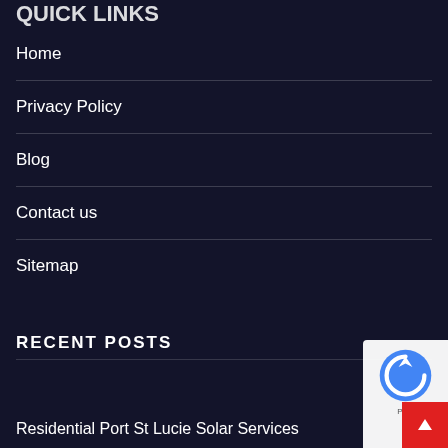QUICK LINKS
Home
Privacy Policy
Blog
Contact us
Sitemap
RECENT POSTS
Residential Port St Lucie Solar Services